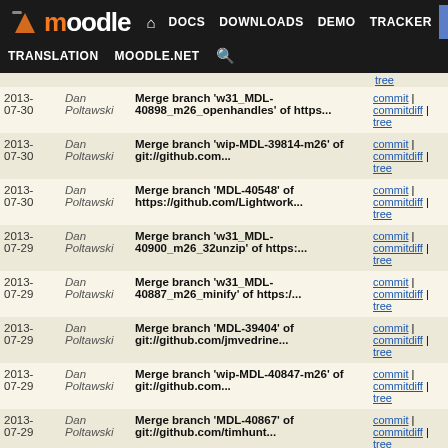moodle | DOCS DOWNLOADS DEMO TRACKER DEV | TRANSLATION MOODLE.NET
| Date | Author | Commit Message | Links |
| --- | --- | --- | --- |
| 2013-07-30 | Dan Poltawski | Merge branch 'w31_MDL-40898_m26_openhandles' of https... | commit | commitdiff | tree |
| 2013-07-30 | Dan Poltawski | Merge branch 'wip-MDL-39814-m26' of git://github.com... | commit | commitdiff | tree |
| 2013-07-30 | Dan Poltawski | Merge branch 'MDL-40548' of https://github.com/Lightwork... | commit | commitdiff | tree |
| 2013-07-29 | Dan Poltawski | Merge branch 'w31_MDL-40900_m26_32unzip' of https:... | commit | commitdiff | tree |
| 2013-07-29 | Dan Poltawski | Merge branch 'w31_MDL-40887_m26_minify' of https:/... | commit | commitdiff | tree |
| 2013-07-29 | Dan Poltawski | Merge branch 'MDL-39404' of git://github.com/jmvedrine... | commit | commitdiff | tree |
| 2013-07-29 | Dan Poltawski | Merge branch 'wip-MDL-40847-m26' of git://github.com... | commit | commitdiff | tree |
| 2013-07-29 | Dan Poltawski | Merge branch 'MDL-40867' of git://github.com/timhunt... | commit | commitdiff | tree |
| 2013-07-29 | Dan Poltawski | Merge branch 'MDL-40618_restore_get_questions' of https... | commit | commitdiff | tree |
| 2013- | Dan Poltawski | Merge branch 'MDL-40323-master' of | commit | |